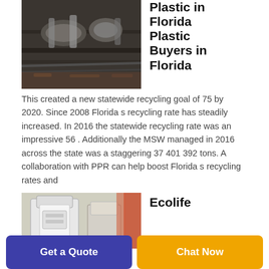[Figure (photo): Close-up photo of industrial machinery with metal parts being processed]
Plastic in Florida Plastic Buyers in Florida
This created a new statewide recycling goal of 75 by 2020. Since 2008 Florida s recycling rate has steadily increased. In 2016 the statewide recycling rate was an impressive 56 . Additionally the MSW managed in 2016 across the state was a staggering 37 401 392 tons. A collaboration with PPR can help boost Florida s recycling rates and
[Figure (photo): Photo of industrial plastic shredding or recycling equipment in a facility]
Ecolife
Get a Quote
Chat Now